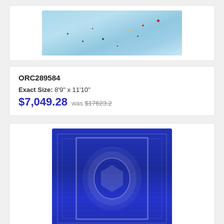[Figure (photo): Light blue/teal distressed rug shown from above, partially visible at top of page]
ORC289584
Exact Size: 8'9" x 11'10"
$7,049.28 was $17623.2
[Figure (photo): Deep blue Persian/oriental style rug with white medallion pattern, shown from above]